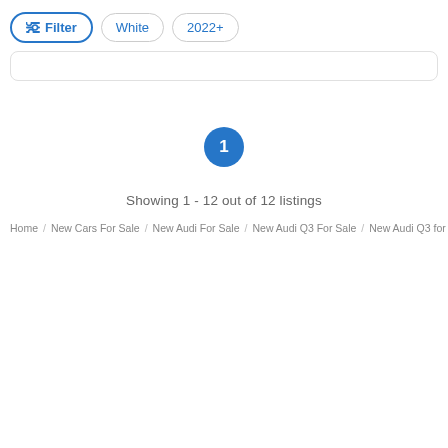Filter  White  2022+
Showing 1 - 12 out of 12 listings
Home / New Cars For Sale / New Audi For Sale / New Audi Q3 For Sale / New Audi Q3 for Sale in